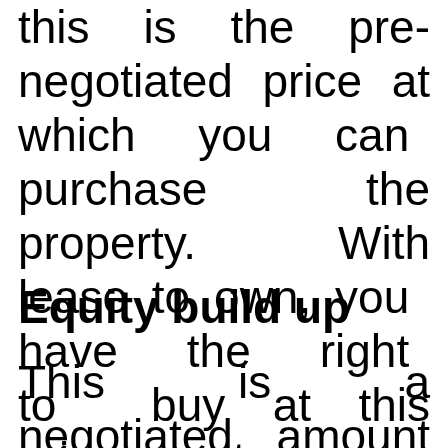this is the pre-negotiated price at which you can purchase the property. With lease to own, you have the right to buy at this price at any time until the expiry of the option agreement.
Equity build up
This is a negotiated amount of monthly rent payment